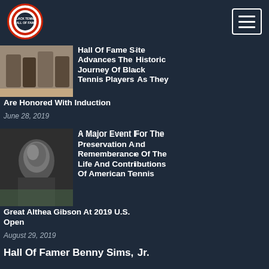Black Tennis Hall of Fame – navigation header with logo and hamburger menu
Hall Of Fame Site Advances The Historic Journey Of Black Tennis Players As They Are Honored With Induction
June 28, 2019
A Major Event For The Preservation And Rememberance Of The Life And Contributions Of American Tennis Great Althea Gibson At 2019 U.S. Open
August 29, 2019
Hall Of Famer Benny Sims, Jr.